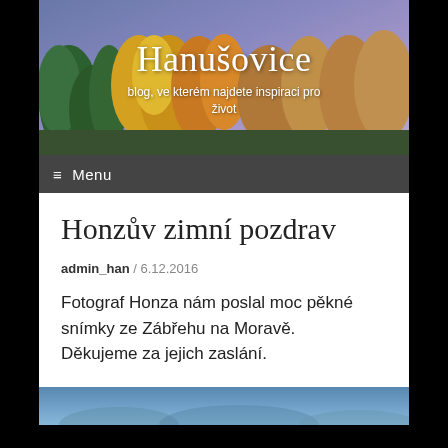[Figure (photo): Autumn forest header banner with colorful trees (green, yellow, orange) and blue-purple sky background. Site title 'Hanušovice' and subtitle text overlaid in white.]
Hanušovice
blog, ve kterém najdete inspiraci pro život
≡ Menu
Honzův zimní pozdrav
admin_han / 6.12.2016
Fotograf Honza nám poslal moc pěkné snímky ze Zábřehu na Moravě.         Děkujeme za jejich zaslání.
[Figure (photo): Partial view of a winter/landscape photo at the bottom of the page.]